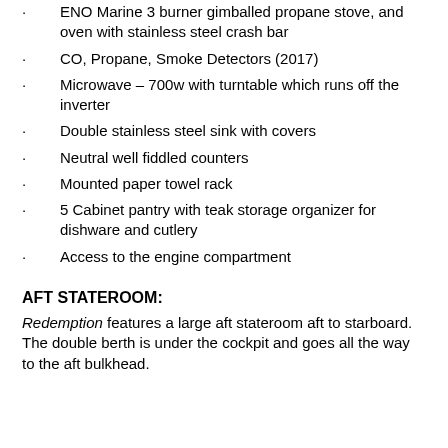ENO Marine 3 burner gimballed propane stove, and oven with stainless steel crash bar
CO, Propane, Smoke Detectors (2017)
Microwave – 700w with turntable which runs off the inverter
Double stainless steel sink with covers
Neutral well fiddled counters
Mounted paper towel rack
5 Cabinet pantry with teak storage organizer for dishware and cutlery
Access to the engine compartment
AFT STATEROOM:
Redemption features a large aft stateroom aft to starboard. The double berth is under the cockpit and goes all the way to the aft bulkhead.